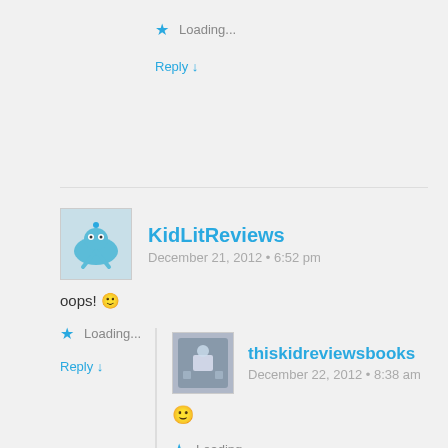Loading...
Reply ↓
KidLitReviews
December 21, 2012 • 6:52 pm
oops! 🙂
Loading...
Reply ↓
thiskidreviewsbooks
December 22, 2012 • 8:38 am
🙂
Loading...